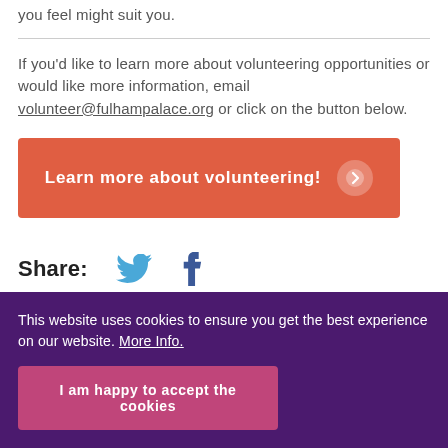you feel might suit you.
If you'd like to learn more about volunteering opportunities or would like more information, email volunteer@fulhampalace.org or click on the button below.
[Figure (other): Orange button with text 'Learn more about volunteering!' and a right-arrow icon]
Share:
This website uses cookies to ensure you get the best experience on our website. More Info.
I am happy to accept the cookies